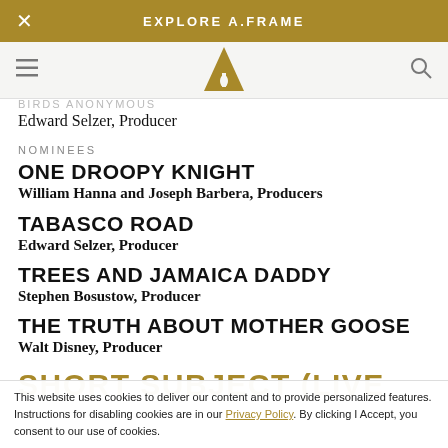EXPLORE A.FRAME
BIRDS ANONYMOUS
Edward Selzer, Producer
NOMINEES
ONE DROOPY KNIGHT
William Hanna and Joseph Barbera, Producers
TABASCO ROAD
Edward Selzer, Producer
TREES AND JAMAICA DADDY
Stephen Bosustow, Producer
THE TRUTH ABOUT MOTHER GOOSE
Walt Disney, Producer
SHORT SUBJECT (LIVE
This website uses cookies to deliver our content and to provide personalized features. Instructions for disabling cookies are in our Privacy Policy. By clicking I Accept, you consent to our use of cookies.